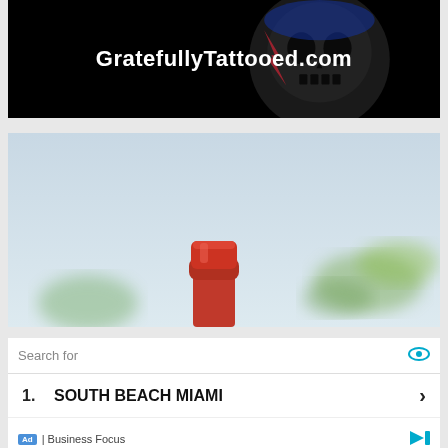[Figure (screenshot): Black banner advertisement for GratefullyTattooed.com with white bold text and a skull graphic in the background]
[Figure (photo): Outdoor photo with light blue sky background showing the top of a red bottle cap/wax seal in the foreground, with blurred green palm leaves in the background right]
Search for
1. SOUTH BEACH MIAMI ›
2. MIAMI BEACH HOTELS ›
Ad | Business Focus